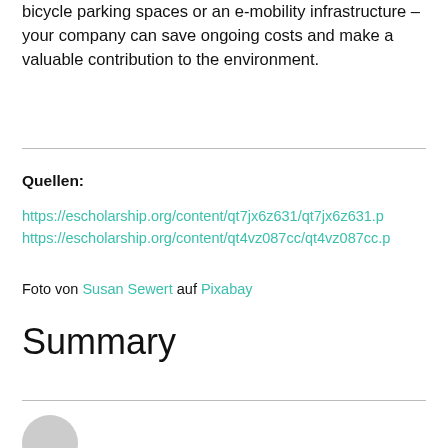bicycle parking spaces or an e-mobility infrastructure – your company can save ongoing costs and make a valuable contribution to the environment.
Quellen:
https://escholarship.org/content/qt7jx6z631/qt7jx6z631.p
https://escholarship.org/content/qt4vz087cc/qt4vz087cc.p
Foto von Susan Sewert auf Pixabay
Summary